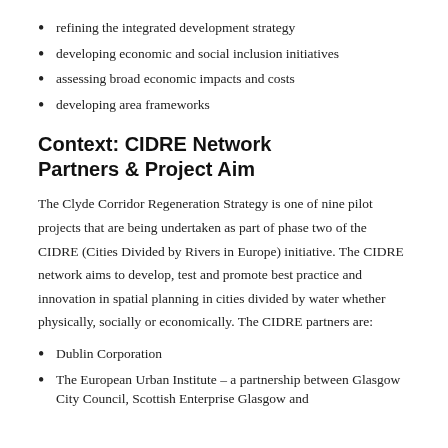refining the integrated development strategy
developing economic and social inclusion initiatives
assessing broad economic impacts and costs
developing area frameworks
Context: CIDRE Network Partners & Project Aim
The Clyde Corridor Regeneration Strategy is one of nine pilot projects that are being undertaken as part of phase two of the CIDRE (Cities Divided by Rivers in Europe) initiative. The CIDRE network aims to develop, test and promote best practice and innovation in spatial planning in cities divided by water whether physically, socially or economically. The CIDRE partners are:
Dublin Corporation
The European Urban Institute – a partnership between Glasgow City Council, Scottish Enterprise Glasgow and